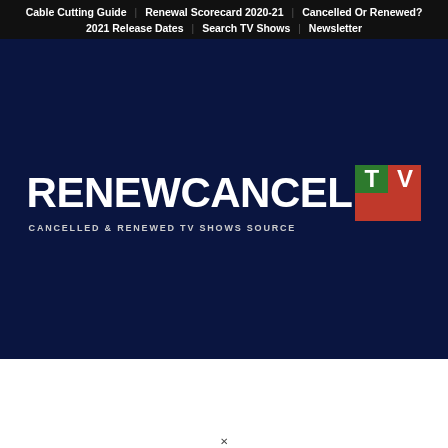Cable Cutting Guide | Renewal Scorecard 2020-21 | Cancelled Or Renewed? | 2021 Release Dates | Search TV Shows | Newsletter
[Figure (logo): RenewCancelTV logo — white bold text reading RENEWCANCELTV with TV in a green/red block, tagline: CANCELLED & RENEWED TV SHOWS SOURCE, on dark navy background]